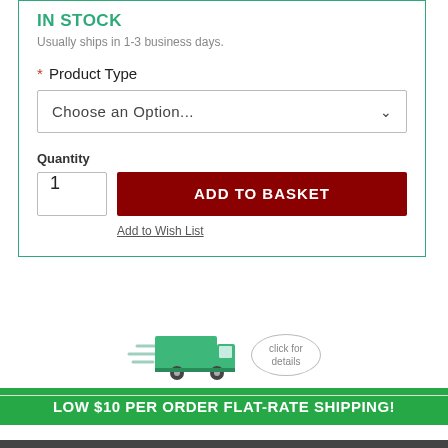IN STOCK
Usually ships in 1-3 business days.
* Product Type
Choose an Option...
Quantity
1
ADD TO BASKET
Add to Wish List
[Figure (illustration): Green delivery truck with motion lines indicating speed]
click for details
LOW $10 PER ORDER FLAT-RATE SHIPPING!